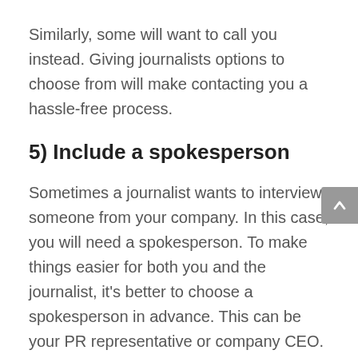Similarly, some will want to call you instead. Giving journalists options to choose from will make contacting you a hassle-free process.
5) Include a spokesperson
Sometimes a journalist wants to interview someone from your company. In this case, you will need a spokesperson. To make things easier for both you and the journalist, it's better to choose a spokesperson in advance. This can be your PR representative or company CEO.
In some cases, an employee can also make a good spokesperson if their expertise lends value to your story. In general, if your story has technical aspects or statistics, journalists prefer to talk to the people